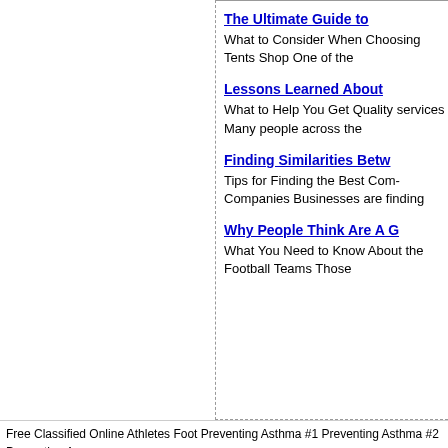The Ultimate Guide to
What to Consider When Choosing Tents Shop One of the
Lessons Learned About
What to Help You Get Quality services Many people across the
Finding Similarities Betw
Tips for Finding the Best Companies Businesses are finding
Why People Think Are A G
What You Need to Know About the Football Teams Those
Free Classified Online Athletes Foot Preventing Asthma #1 Preventing Asthma #2 Preventing A Systems Review
Adsense Themes